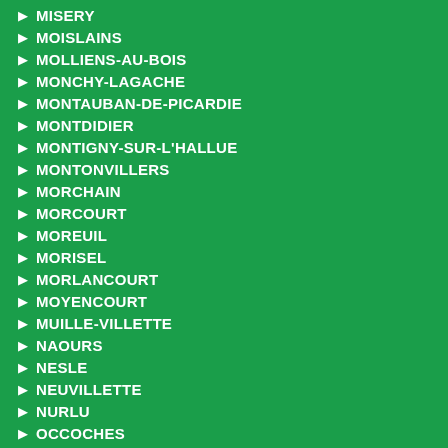► MISERY
► MOISLAINS
► MOLLIENS-AU-BOIS
► MONCHY-LAGACHE
► MONTAUBAN-DE-PICARDIE
► MONTDIDIER
► MONTIGNY-SUR-L'HALLUE
► MONTONVILLERS
► MORCHAIN
► MORCOURT
► MOREUIL
► MORISEL
► MORLANCOURT
► MOYENCOURT
► MUILLE-VILLETTE
► NAOURS
► NESLE
► NEUVILLETTE
► NURLU
► OCCOCHES
► OFFOY
► OMIECOURT
► OUTREBOIS